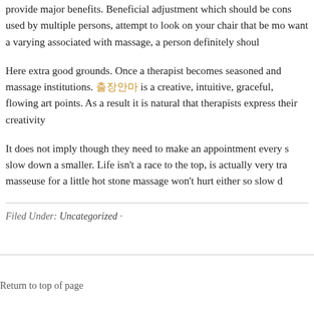provide major benefits. Beneficial adjustment which should be cons... used by multiple persons, attempt to look on your chair that be mo... want a varying associated with massage, a person definitely shoul...
Here extra good grounds. Once a therapist becomes seasoned and massage institutions. 출장안마 is a creative, intuitive, graceful, flowing art points. As a result it is natural that therapists express their creativity...
It does not imply though they need to make an appointment every s... slow down a smaller. Life isn't a race to the top, is actually very tra... masseuse for a little hot stone massage won't hurt either so slow d...
Filed Under: Uncategorized ·
Return to top of page